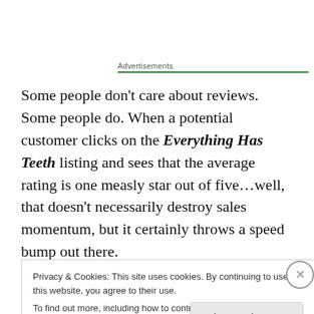Advertisements
Some people don't care about reviews. Some people do. When a potential customer clicks on the Everything Has Teeth listing and sees that the average rating is one measly star out of five…well, that doesn't necessarily destroy sales momentum, but it certainly throws a speed bump out there.
Privacy & Cookies: This site uses cookies. By continuing to use this website, you agree to their use.
To find out more, including how to control cookies, see here: Cookie Policy